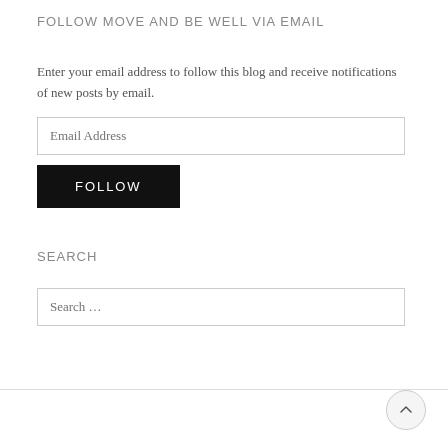FOLLOW MOVE AND BE WELL VIA EMAIL
Enter your email address to follow this blog and receive notifications of new posts by email.
SEARCH